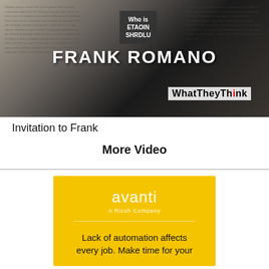[Figure (photo): Video thumbnail showing Frank Romano text overlay on a dark background with WhatTheyThink logo and a person wearing a t-shirt that says 'Who is ETAOIN SHRDLU']
Invitation to Frank
More Video
[Figure (logo): Avanti - A Ricoh Company advertisement on yellow background with text: Lack of automation affects every job. Make time for your]